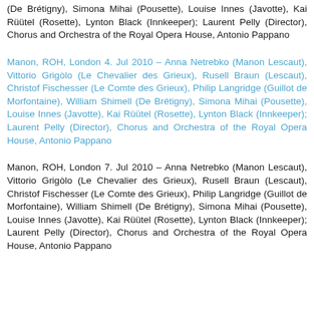(De Brétigny), Simona Mihai (Pousette), Louise Innes (Javotte), Kai Rüütel (Rosette), Lynton Black (Innkeeper); Laurent Pelly (Director), Chorus and Orchestra of the Royal Opera House, Antonio Pappano
Manon, ROH, London 4. Jul 2010 – Anna Netrebko (Manon Lescaut), Vittorio Grigòlo (Le Chevalier des Grieux), Rusell Braun (Lescaut), Christof Fischesser (Le Comte des Grieux), Philip Langridge (Guillot de Morfontaine), William Shimell (De Brétigny), Simona Mihai (Pousette), Louise Innes (Javotte), Kai Rüütel (Rosette), Lynton Black (Innkeeper); Laurent Pelly (Director), Chorus and Orchestra of the Royal Opera House, Antonio Pappano
Manon, ROH, London 7. Jul 2010 – Anna Netrebko (Manon Lescaut), Vittorio Grigòlo (Le Chevalier des Grieux), Rusell Braun (Lescaut), Christof Fischesser (Le Comte des Grieux), Philip Langridge (Guillot de Morfontaine), William Shimell (De Brétigny), Simona Mihai (Pousette), Louise Innes (Javotte), Kai Rüütel (Rosette), Lynton Black (Innkeeper); Laurent Pelly (Director), Chorus and Orchestra of the Royal Opera House, Antonio Pappano